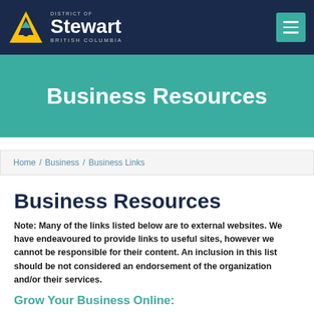District of Stewart, British Columbia
Business Resources
Home / Business / Business Links
Business Resources
Note: Many of the links listed below are to external websites. We have endeavoured to provide links to useful sites, however we cannot be responsible for their content. An inclusion in this list should be not considered an endorsement of the organization and/or their services.
Grow Your Business Online:
In the digital age, it's crucial for consumer-facing businesses to